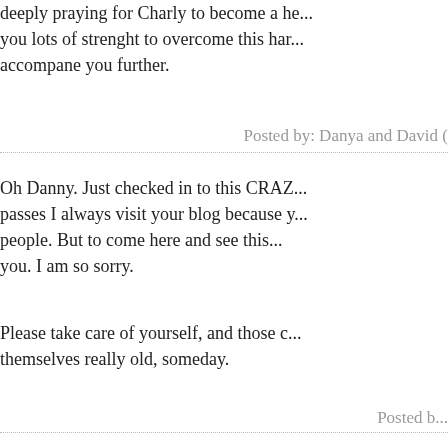deeply praying for Charly to become a he... you lots of strenght to overcome this har... accompane you further.
Posted by: Danya and David (
Oh Danny. Just checked in to this CRAZ... passes I always visit your blog because y... people. But to come here and see this... you. I am so sorry.
Please take care of yourself, and those c... themselves really old, someday.
Posted b...
Thank you for posting those pictures. Th... I are still sending lots of positive thoughts...
Po...
Such powerful pictures. He looks like a fi...